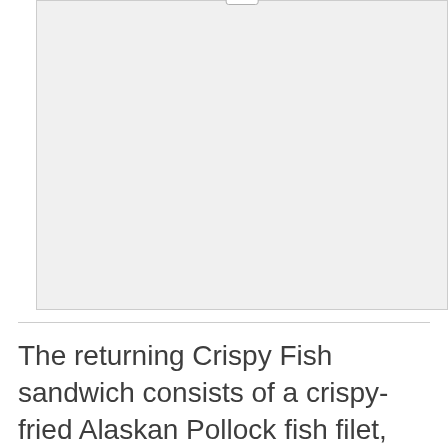[Figure (other): Advertisement placeholder box with 'Ad' label at top center]
The returning Crispy Fish sandwich consists of a crispy-fried Alaskan Pollock fish filet, shredded iceberg lettuce, and tartar sauce on a sesame seed bun. Like the Nashville Hot